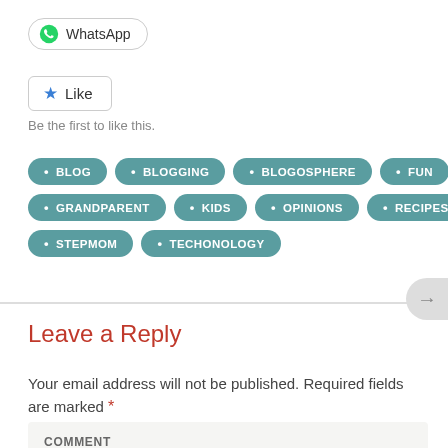[Figure (other): WhatsApp share button with WhatsApp logo icon and rounded border]
[Figure (other): Like button with blue star icon and rounded border]
Be the first to like this.
BLOG
BLOGGING
BLOGOSPHERE
FUN
GRANDPARENT
KIDS
OPINIONS
RECIPES
STEPMOM
TECHONOLOGY
Leave a Reply
Your email address will not be published. Required fields are marked *
COMMENT